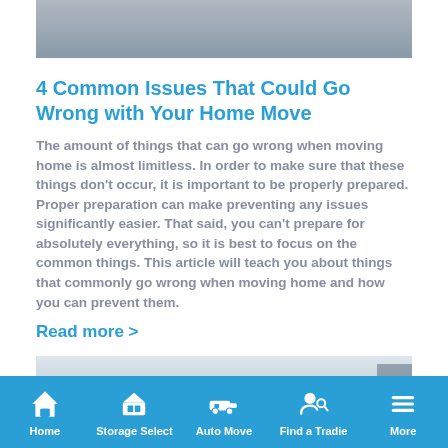[Figure (photo): Top banner image, gray/blue toned photo (partially visible, cropped)]
4 Common Issues That Could Go Wrong with Your Home Move
The amount of things that can go wrong when moving home is almost limitless. In order to make sure that these things don't occur, it is important to be properly prepared. Proper preparation can make preventing any issues significantly easier. That said, you can't prepare for absolutely everything, so it is best to focus on the common things. This article will teach you about things that commonly go wrong when moving home and how you can prevent them.
Read more >
[Figure (photo): Bottom partial image of an interior room, gray/white toned]
Home | Storage Select | Auto Move | Find a Tradie | More